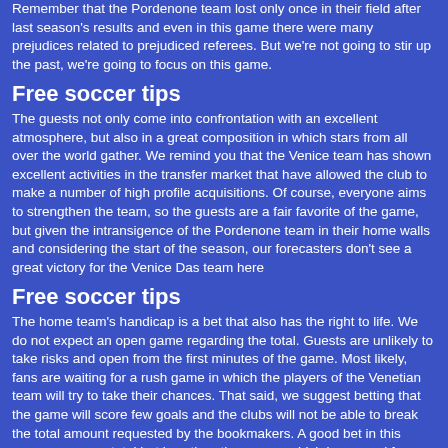Remember that the Pordenone team lost only once in their field after last season's results and even in this game there were many prejudices related to prejudiced referees. But we're not going to stir up the past, we're going to focus on this game.
Free soccer tips
The guests not only come into confrontation with an excellent atmosphere, but also in a great composition in which stars from all over the world gather. We remind you that the Venice team has shown excellent activities in the transfer market that have allowed the club to make a number of high profile acquisitions. Of course, everyone aims to strengthen the team, so the guests are a fair favorite of the game, but given the intransigence of the Pordenone team in their home walls and considering the start of the season, our forecasters don't see a great victory for the Venice Das team here
Free soccer tips
The home team's handicap is a bet that also has the right to life. We do not expect an open game regarding the total. Guests are unlikely to take risks and open from the first minutes of the game. Most likely, fans are waiting for a rush game in which the players of the Venetian team will try to take their chances. That said, we suggest betting that the game will score few goals and the clubs will not be able to break the total amount requested by the bookmakers. A good bet in this game, we see a total bet less than the corner, which is unusual for defensive football.
Free soccer picks
Pordenone - Venice: The hosts will take care of the new arrival
Free soccer predictions